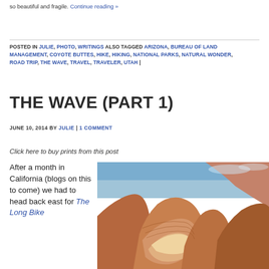so beautiful and fragile. Continue reading »
POSTED IN JULIE, PHOTO, WRITINGS ALSO TAGGED ARIZONA, BUREAU OF LAND MANAGEMENT, COYOTE BUTTES, HIKE, HIKING, NATIONAL PARKS, NATURAL WONDER, ROAD TRIP, THE WAVE, TRAVEL, TRAVELER, UTAH |
THE WAVE (PART 1)
JUNE 10, 2014 BY JULIE | 1 COMMENT
Click here to buy prints from this post
After a month in California (blogs on this to come) we had to head back east for The Long Bike
[Figure (photo): Photo of The Wave rock formation — layered orange and red sandstone with swirling wave-like patterns, blue sky above]